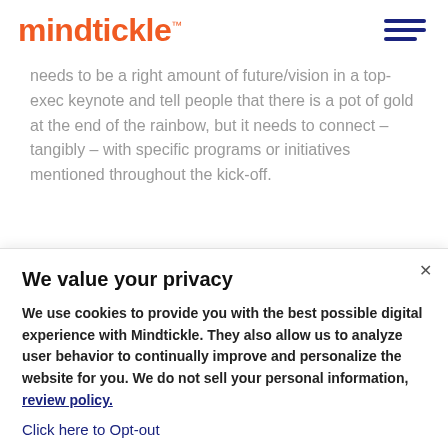mindtickle™
needs to be a right amount of future/vision in a top-exec keynote and tell people that there is a pot of gold at the end of the rainbow, but it needs to connect – tangibly – with specific programs or initiatives mentioned throughout the kick-off.
We value your privacy
We use cookies to provide you with the best possible digital experience with Mindtickle. They also allow us to analyze user behavior to continually improve and personalize the website for you. We do not sell your personal information, review policy.
Click here to Opt-out